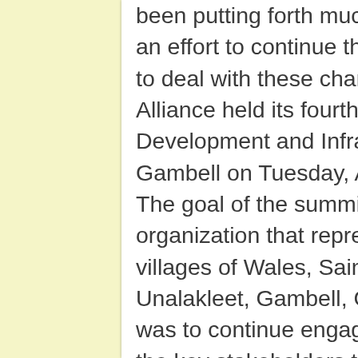been putting forth much data to support it. In an effort to continue their proactive approach to deal with these changes, the Bering Sea Alliance held its fourth Arctic Resource Development and Infrastructure summit in Gambell on Tuesday, August 2. The goal of the summit for BSA, an organization that represents the Native villages of Wales, Saint Michael, Stebbins, Unalakleet, Gambell, Golovin and Sitnasuak, was to continue engaging in dialog between the key stakeholders to not only help protect the rich abundance of life in northern marine waters, but to also further develop local economies. “Connectivity is a really big thing,” said BSA’s Chief Executive Officer Art Ivanoff. “It looks like hyper-globalization is what we are facing today. We need to get up to speed in rural Alaska to compete with